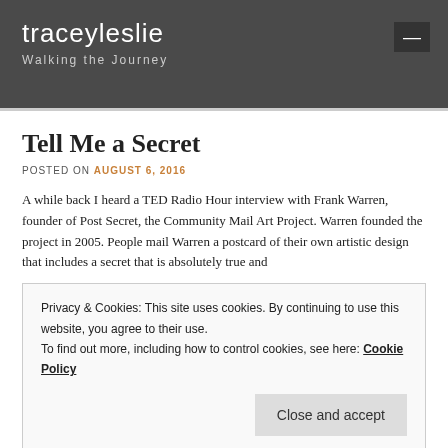traceyleslie
Walking the Journey
Tell Me a Secret
POSTED ON AUGUST 6, 2016
A while back I heard a TED Radio Hour interview with Frank Warren, founder of Post Secret, the Community Mail Art Project.  Warren founded the project in 2005.  People mail Warren a postcard of their own artistic design that includes a secret that is absolutely true and
Privacy & Cookies: This site uses cookies. By continuing to use this website, you agree to their use.
To find out more, including how to control cookies, see here: Cookie Policy
Close and accept
just plain strange.  One of the secrets Warren shared came from a